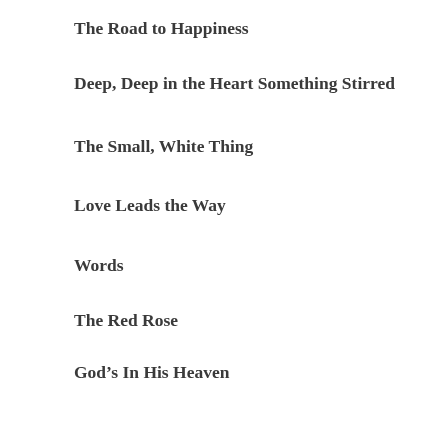The Road to Happiness
Deep, Deep in the Heart Something Stirred
The Small, White Thing
Love Leads the Way
Words
The Red Rose
God's In His Heaven
God and Man
DEDICATION TO PAL
And the one to whom this name applies, though miles